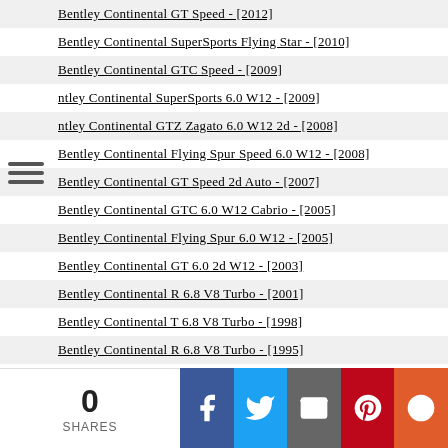Bentley Continental GT Speed - [2012]
Bentley Continental SuperSports Flying Star - [2010]
Bentley Continental GTC Speed - [2009]
Bentley Continental SuperSports 6.0 W12 - [2009]
Bentley Continental GTZ Zagato 6.0 W12 2d - [2008]
Bentley Continental Flying Spur Speed 6.0 W12 - [2008]
Bentley Continental GT Speed 2d Auto - [2007]
Bentley Continental GTC 6.0 W12 Cabrio - [2005]
Bentley Continental Flying Spur 6.0 W12 - [2005]
Bentley Continental GT 6.0 2d W12 - [2003]
Bentley Continental R 6.8 V8 Turbo - [2001]
Bentley Continental T 6.8 V8 Turbo - [1998]
Bentley Continental R 6.8 V8 Turbo - [1995]
Bentley Continental R 6.8 V8 Turbo - [1991]
Bentley Corniche 6.8 V8 Convertible - [1971]
Bentley Corniche 6.8 V8 - [1971]
Bentley Flying Spur 6.0 W12 Twin Turbo - [2019]